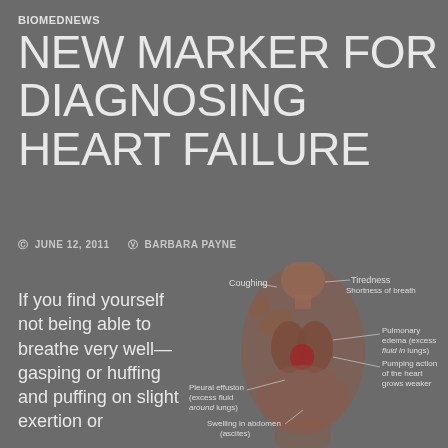BIOMEDNEWS
NEW MARKER FOR DIAGNOSING HEART FAILURE
JUNE 12, 2011   BARBARA PAYNE
If you find yourself not being able to breathe very well—gasping or huffing and puffing on slight exertion or
[Figure (illustration): Medical illustration of a human torso showing heart failure symptoms: Coughing (upper left), Tiredness and Shortness of breath (upper right), Pulmonary edema - excess fluid in lungs (right), Pumping action of the heart grows weaker (right), Pleural effusion - excess fluid around lungs (lower left), Swelling in abdomen/ascites (lower center)]